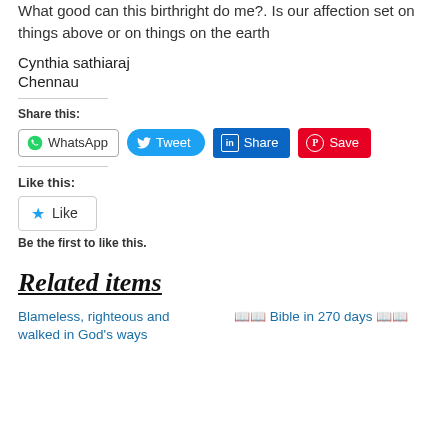What good can this birthright do me?. Is our affection set on things above or on things on the earth
Cynthia sathiaraj
Chennau
Share this:
[Figure (infographic): Social share buttons: WhatsApp, Tweet, Share (LinkedIn), Save (Pinterest)]
Like this:
[Figure (infographic): Like button with star icon]
Be the first to like this.
Related items
Blameless, righteous and walked in God's ways
📖📖 Bible in 270 days 📖📖